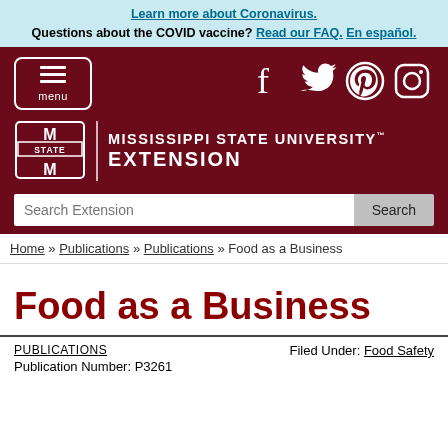Learn more about Coronavirus. Questions about the COVID vaccine? Read our FAQ. En español.
[Figure (screenshot): Mississippi State University Extension website header with maroon background, menu button, social media icons (Facebook, Twitter, Pinterest, Instagram), MSU logo with STATE shield, and search bar]
Home » Publications » Publications » Food as a Business
Food as a Business
PUBLICATIONS
Publication Number: P3261
Filed Under: Food Safety